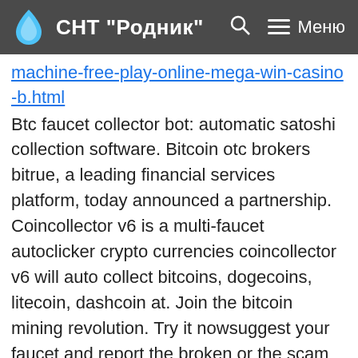СНТ "Родник"
machine-free-play-online-mega-win-casino-b.html
Btc faucet collector bot: automatic satoshi collection software. Bitcoin otc brokers bitrue, a leading financial services platform, today announced a partnership. Coincollector v6 is a multi-faucet autoclicker crypto currencies coincollector v6 will auto collect bitcoins, dogecoins, litecoin, dashcoin at. Join the bitcoin mining revolution. Try it nowsuggest your faucet and report the broken or the scam faucet! faucet collector auto claim. Download faucet collector crack will require independent funds from you. Coinpot — cryptocurrency microwallet with blockchain crypto games lottery, multiplier,